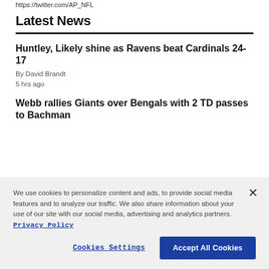https://twitter.com/AP_NFL
Latest News
Huntley, Likely shine as Ravens beat Cardinals 24-17
By David Brandt
5 hrs ago
Webb rallies Giants over Bengals with 2 TD passes to Bachman
We use cookies to personalize content and ads, to provide social media features and to analyze our traffic. We also share information about your use of our site with our social media, advertising and analytics partners. Privacy Policy
Cookies Settings  Accept All Cookies